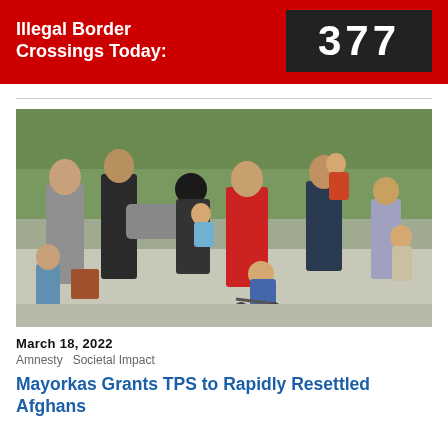Illegal Border Crossings Today: 377
[Figure (photo): Group of migrants including men, women, and children walking along a road, some carrying bags and pushing a stroller, with trees in the background.]
March 18, 2022
Amnesty  Societal Impact
Mayorkas Grants TPS to Rapidly Resettled Afghans